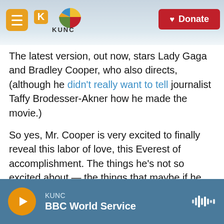KUNC — Donate
The latest version, out now, stars Lady Gaga and Bradley Cooper, who also directs, (although he didn't really want to tell journalist Taffy Brodesser-Akner how he made the movie.)
So yes, Mr. Cooper is very excited to finally reveal this labor of love, this Everest of accomplishment. The things he's not so excited about — the things that maybe if he had his way he wouldn't do — involve the ways a person is expected and obligated to share it. Meaning, he's not really excited to sit down and explain the thing.
KUNC — BBC World Service